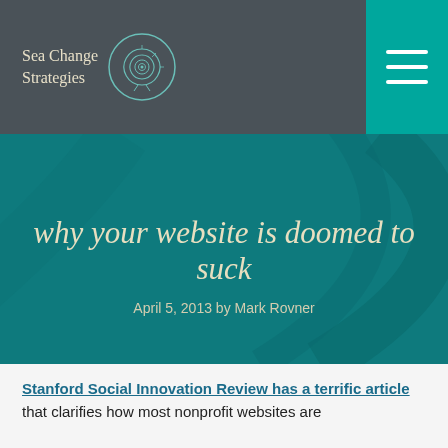Sea Change Strategies
why your website is doomed to suck
April 5, 2013 by Mark Rovner
Stanford Social Innovation Review has a terrific article that clarifies how most nonprofit websites are